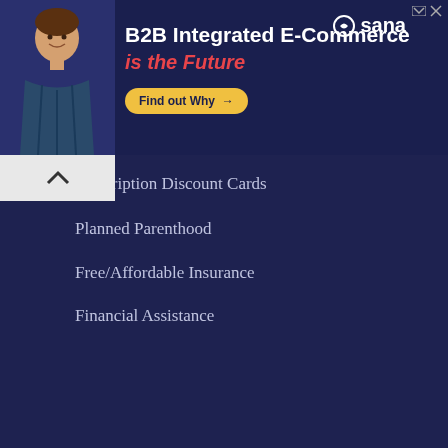[Figure (screenshot): Advertisement banner for Sana B2B Integrated E-Commerce. Dark navy background with a man in a blue plaid shirt on the left side. Text reads 'B2B Integrated E-Commerce is the Future' with a yellow 'Find out Why' button and Sana logo in upper right.]
Prescription Discount Cards
Planned Parenthood
Free/Affordable Insurance
Financial Assistance
HOUSING
Low Income Housing
Rent Assistance
Section 8 House for Rent
FINANCIAL